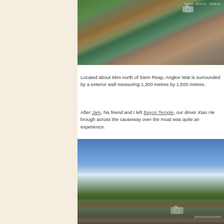[Figure (photo): Aerial/elevated view of Angkor Wat moat area showing green water, stone ruins, and ancient stonework causeway with vegetation growing between rocks]
Located about 6km north of Siem Reap, Angkor Wat is surrounded by a exterior wall measuring 1,300 metres by 1,500 metres.
After Jam, his friend and I left Bayon Temple, our driver Xiao He brough across the causeway over the moat was quite an experience.
[Figure (photo): Wide panoramic view of Angkor Wat temple complex under a blue sky with wispy clouds, tourists and tuk-tuks in the foreground, lush green trees surrounding the temple towers]